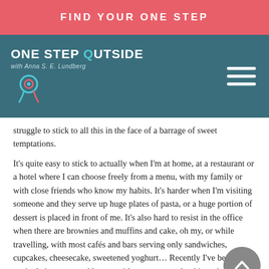FIND YOUR ONE STEP
[Figure (logo): One Step Outside logo with Anna S. E. Lundberg text and decorative ribbon/swirl icon on teal background, with hamburger menu icon on right]
struggle to stick to all this in the face of a barrage of sweet temptations.
It's quite easy to stick to actually when I'm at home, at a restaurant or a hotel where I can choose freely from a menu, with my family or with close friends who know my habits. It's harder when I'm visiting someone and they serve up huge plates of pasta, or a huge portion of dessert is placed in front of me. It's also hard to resist in the office when there are brownies and muffins and cake, oh my, or while travelling, with most cafés and bars serving only sandwiches, cupcakes, cheesecake, sweetened yoghurt… Recently I've been good again, being open and honest with everyone so that it's easier